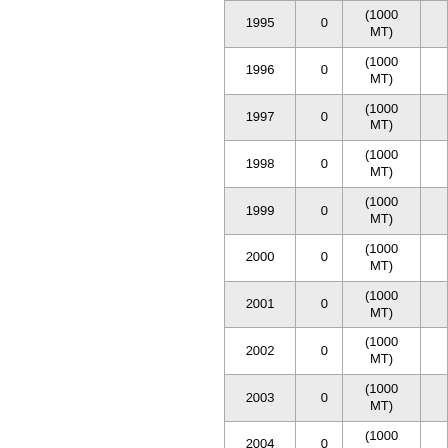| Year | Value | Unit |  |
| --- | --- | --- | --- |
| 1995 | 0 | (1000 MT) |  |
| 1996 | 0 | (1000 MT) |  |
| 1997 | 0 | (1000 MT) |  |
| 1998 | 0 | (1000 MT) |  |
| 1999 | 0 | (1000 MT) |  |
| 2000 | 0 | (1000 MT) |  |
| 2001 | 0 | (1000 MT) |  |
| 2002 | 0 | (1000 MT) |  |
| 2003 | 0 | (1000 MT) |  |
| 2004 | 0 | (1000 MT) |  |
| 2005 | 0 | (1000 MT) |  |
| 2006 | 0 | (1000 MT) |  |